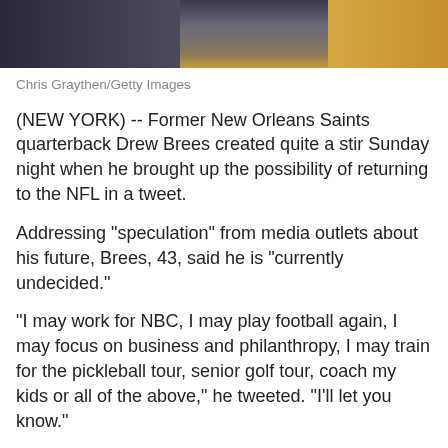[Figure (photo): Photo of Drew Brees, partially visible, cropped at top]
Chris Graythen/Getty Images
(NEW YORK) -- Former New Orleans Saints quarterback Drew Brees created quite a stir Sunday night when he brought up the possibility of returning to the NFL in a tweet.
Addressing "speculation" from media outlets about his future, Brees, 43, said he is "currently undecided."
"I may work for NBC, I may play football again, I may focus on business and philanthropy, I may train for the pickleball tour, senior golf tour, coach my kids or all of the above," he tweeted. "I'll let you know."
Despite speculation from media about my future this fall, I'm currently undecided. I may work for NBC, I may play football again, I may focus on business and philanthropy, I may train for the pickleball tour, senior golf tour, coach